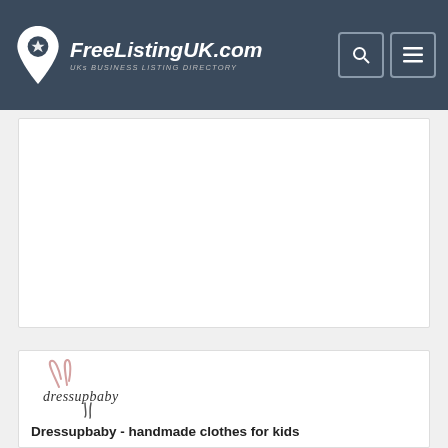FreeListingUK.com — UKs Business Listing Directory
[Figure (logo): FreeListingUK.com logo with map pin icon and tagline 'UKs BUSINESS LISTING DIRECTORY']
[Figure (other): Advertisement block (white rectangle)]
[Figure (logo): Dressupbaby brand logo — handwritten style script with bunny ears graphic]
Dressupbaby - handmade clothes for kids